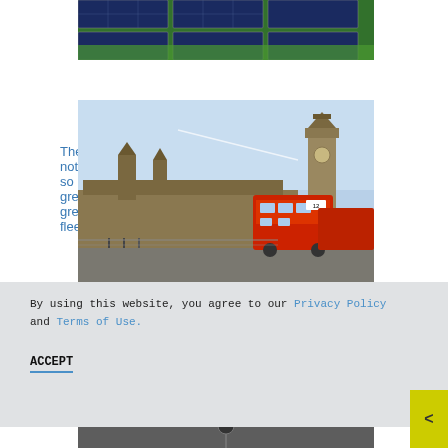[Figure (photo): Partial view of solar panels on green grass, cropped at top]
The not so great green fleet
[Figure (photo): London double-decker red bus passing the Houses of Parliament and Big Ben under a clear blue sky]
By using this website, you agree to our Privacy Policy and Terms of Use.
ACCEPT
[Figure (photo): Partial bottom image, partially obscured]